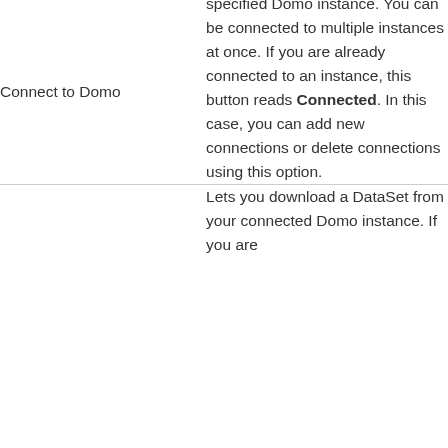Connect to Domo
specified Domo instance. You can be connected to multiple instances at once. If you are already connected to an instance, this button reads Connected. In this case, you can add new connections or delete connections using this option.
Lets you download a DataSet from your connected Domo instance. If you are